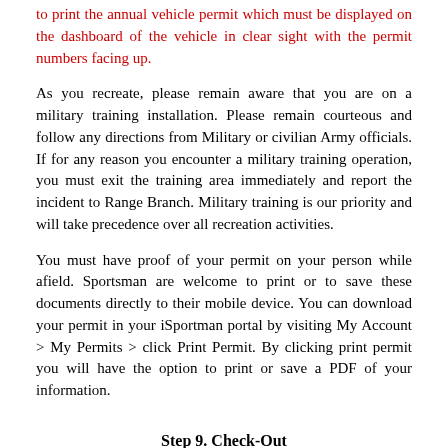to print the annual vehicle permit which must be displayed on the dashboard of the vehicle in clear sight with the permit numbers facing up.
As you recreate, please remain aware that you are on a military training installation. Please remain courteous and follow any directions from Military or civilian Army officials. If for any reason you encounter a military training operation, you must exit the training area immediately and report the incident to Range Branch. Military training is our priority and will take precedence over all recreation activities.
You must have proof of your permit on your person while afield. Sportsman are welcome to print or to save these documents directly to their mobile device. You can download your permit in your iSportman portal by visiting My Account > My Permits > click Print Permit. By clicking print permit you will have the option to print or save a PDF of your information.
Step 9. Check-Out
When you are finished recreating, don't forget to check-out of your area. Failure to check-out could prompt emergency or rescue